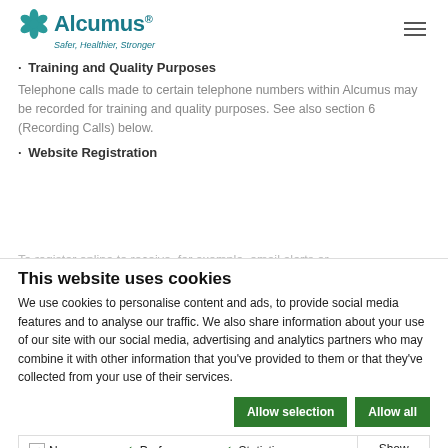[Figure (logo): Alcumus logo with flower icon and tagline 'Safer, Healthier, Stronger']
• Training and Quality Purposes
Telephone calls made to certain telephone numbers within Alcumus may be recorded for training and quality purposes. See also section 6 (Recording Calls) below.
• Website Registration
To register online to receive, for example, email alerts or
This website uses cookies
We use cookies to personalise content and ads, to provide social media features and to analyse our traffic. We also share information about your use of our site with our social media, advertising and analytics partners who may combine it with other information that you've provided to them or that they've collected from your use of their services.